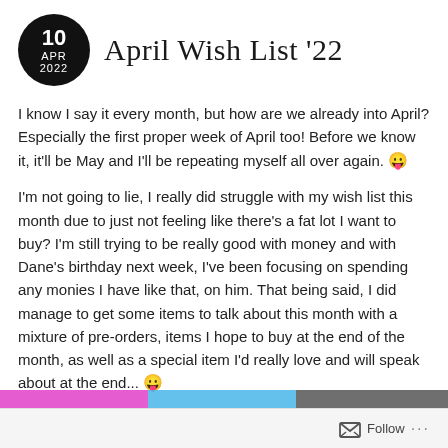April Wish List '22
I know I say it every month, but how are we already into April? Especially the first proper week of April too! Before we know it, it'll be May and I'll be repeating myself all over again. 😛
I'm not going to lie, I really did struggle with my wish list this month due to just not feeling like there's a fat lot I want to buy? I'm still trying to be really good with money and with Dane's birthday next week, I've been focusing on spending any monies I have like that, on him. That being said, I did manage to get some items to talk about this month with a mixture of pre-orders, items I hope to buy at the end of the month, as well as a special item I'd really love and will speak about at the end... 😛
Anyhoo, no time like the present, let's get on with the wish list!
Follow